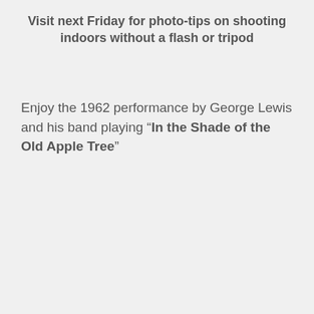Visit next Friday for photo-tips on shooting indoors without a flash or tripod
Enjoy the 1962 performance by George Lewis and his band playing “In the Shade of the Old Apple Tree”